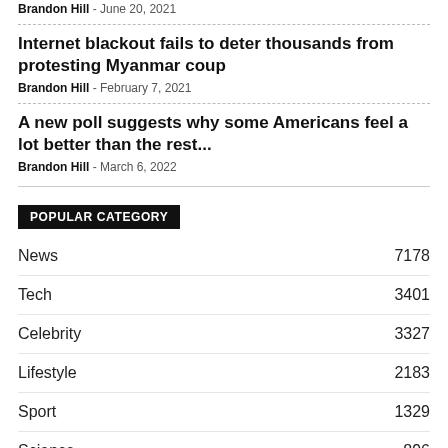Brandon Hill - June 20, 2021
Internet blackout fails to deter thousands from protesting Myanmar coup
Brandon Hill - February 7, 2021
A new poll suggests why some Americans feel a lot better than the rest...
Brandon Hill - March 6, 2022
POPULAR CATEGORY
News 7178
Tech 3401
Celebrity 3327
Lifestyle 2183
Sport 1329
Science 896